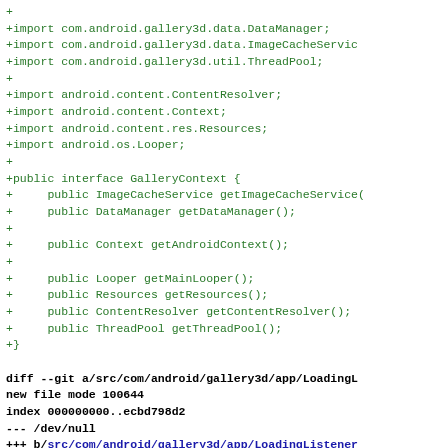Code diff showing GalleryContext interface and LoadingListener file header